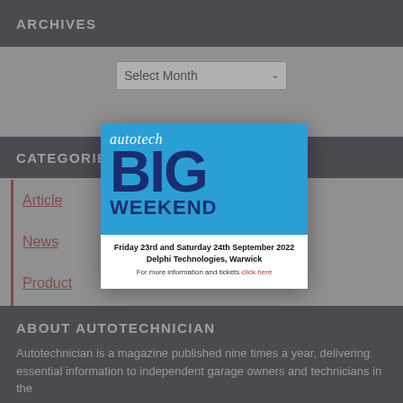ARCHIVES
Select Month
CATEGORIES
Article
News
Product
Sponsored
[Figure (infographic): Autotech BIG WEEKEND advertisement popup. Friday 23rd and Saturday 24th September 2022, Delphi Technologies, Warwick. For more information and tickets click here.]
ABOUT AUTOTECHNICIAN
Autotechnician is a magazine published nine times a year, delivering essential information to independent garage owners and technicians in the